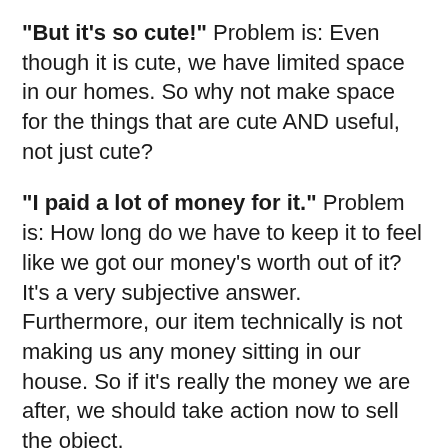"But it's so cute!" Problem is: Even though it is cute, we have limited space in our homes. So why not make space for the things that are cute AND useful, not just cute?
"I paid a lot of money for it." Problem is: How long do we have to keep it to feel like we got our money's worth out of it? It's a very subjective answer. Furthermore, our item technically is not making us any money sitting in our house. So if it's really the money we are after, we should take action now to sell the object.
Do you recognize yourself in any of these thoughts? So do we, and we think there's a...